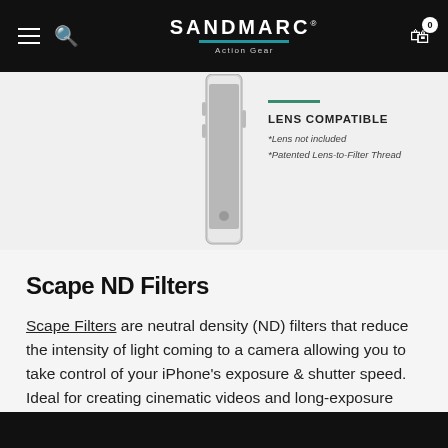SANDMARC Action Gear
[Figure (photo): Partial view of a slim smartphone (iPhone) shown vertically, silver/chrome finish, on a light gray background]
LENS COMPATIBLE
*Lens not included
*Patented Lens-to-Filter Thread
Scape ND Filters
Scape Filters are neutral density (ND) filters that reduce the intensity of light coming to a camera allowing you to take control of your iPhone’s exposure & shutter speed. Ideal for creating cinematic videos and long-exposure photography, Scape Filters unlock the camera capabilities of your iPhone.